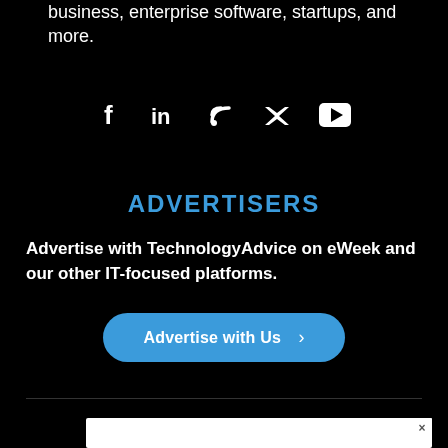business, enterprise software, startups, and more.
[Figure (infographic): Social media icons: Facebook, LinkedIn, RSS, Twitter, YouTube]
ADVERTISERS
Advertise with TechnologyAdvice on eWeek and our other IT-focused platforms.
Advertise with Us >
[Figure (other): White advertisement box with close button (x)]